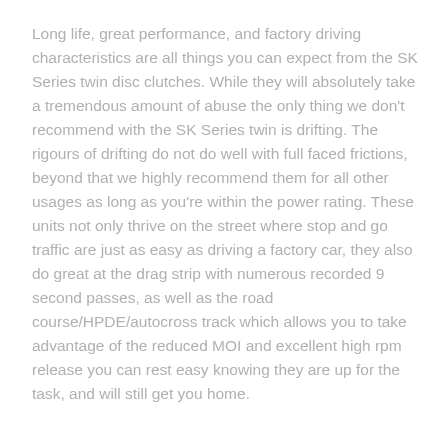Long life, great performance, and factory driving characteristics are all things you can expect from the SK Series twin disc clutches. While they will absolutely take a tremendous amount of abuse the only thing we don't recommend with the SK Series twin is drifting. The rigours of drifting do not do well with full faced frictions, beyond that we highly recommend them for all other usages as long as you're within the power rating. These units not only thrive on the street where stop and go traffic are just as easy as driving a factory car, they also do great at the drag strip with numerous recorded 9 second passes, as well as the road course/HPDE/autocross track which allows you to take advantage of the reduced MOI and excellent high rpm release you can rest easy knowing they are up for the task, and will still get you home.